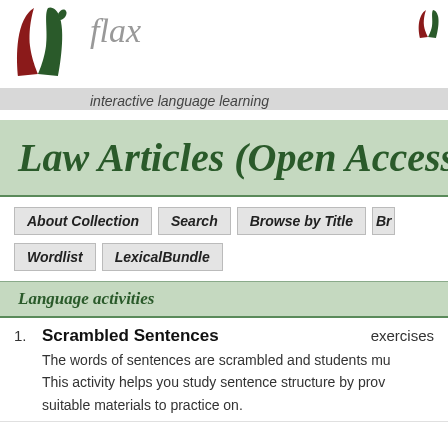[Figure (logo): FLAX interactive language learning logo with red and green stylized leaf/feather shapes]
flax
interactive language learning
Law Articles (Open Access
Language activities
1. Scrambled Sentences  exercises
The words of sentences are scrambled and students mu...
This activity helps you study sentence structure by prov... suitable materials to practice on.